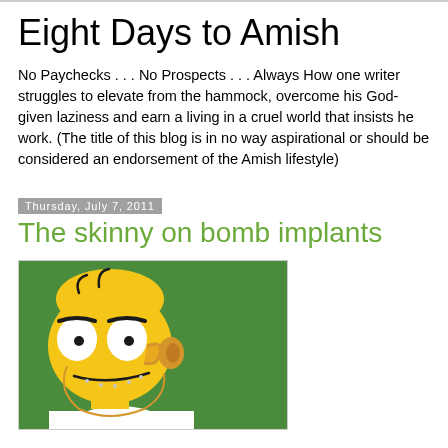Eight Days to Amish
No Paychecks . . . No Prospects . . . Always How one writer struggles to elevate from the hammock, overcome his God-given laziness and earn a living in a cruel world that insists he work. (The title of this blog is in no way aspirational or should be considered an endorsement of the Amish lifestyle)
Thursday, July 7, 2011
The skinny on bomb implants
[Figure (illustration): Cartoon illustration of Homer Simpson (from The Simpsons) shown from shoulders up, facing left, on a green background. Yellow skin, large white eyes with black pupils, bald head with a few hairs, brown ear, stubble on chin.]